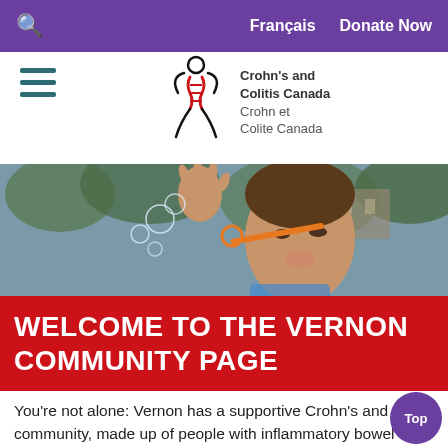🔍   Français   Donate Now
[Figure (logo): Crohn's and Colitis Canada / Crohn et Colite Canada logo with stylized figure and DNA helix icon]
[Figure (photo): Child blowing bubbles outdoors, hero banner photo]
WELCOME TO THE VERNON COMMUNITY PAGE
You're not alone: Vernon has a supportive Crohn's and colitis community, made up of people with inflammatory bowel disease, families, volunteers, and more. Together, we share experiences, raise funds at the Gutsy Walk and heighten awareness.